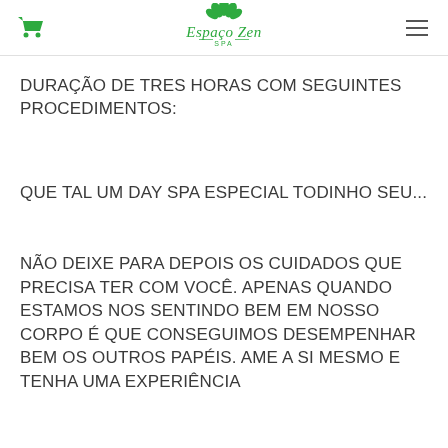Espaço Zen SPA
DURAÇÃO DE TRES HORAS COM SEGUINTES PROCEDIMENTOS:
QUE TAL UM DAY SPA ESPECIAL TODINHO SEU...
NÃO DEIXE PARA DEPOIS OS CUIDADOS QUE PRECISA TER COM VOCÊ. APENAS QUANDO ESTAMOS NOS SENTINDO BEM EM NOSSO CORPO É QUE CONSEGUIMOS DESEMPENHAR BEM OS OUTROS PAPÉIS. AME A SI MESMO E TENHA UMA EXPERIÊNCIA